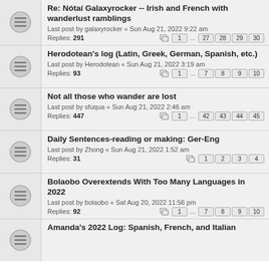Re: Nótaí Galaxyrocker -- Irish and French with wanderlust ramblings
Last post by galaxyrocker « Sun Aug 21, 2022 9:22 am
Replies: 291
Pages: 1 ... 27 28 29 30
Herodotean's log (Latin, Greek, German, Spanish, etc.)
Last post by Herodotean « Sun Aug 21, 2022 3:19 am
Replies: 93
Pages: 1 ... 7 8 9 10
Not all those who wander are lost
Last post by sfuqua « Sun Aug 21, 2022 2:46 am
Replies: 447
Pages: 1 ... 42 43 44 45
Daily Sentences-reading or making: Ger-Eng
Last post by Zhong « Sun Aug 21, 2022 1:52 am
Replies: 31
Pages: 1 2 3 4
Bolaobo Overextends With Too Many Languages in 2022
Last post by bolaobo « Sat Aug 20, 2022 11:56 pm
Replies: 92
Pages: 1 ... 7 8 9 10
Amanda's 2022 Log: Spanish, French, and Italian